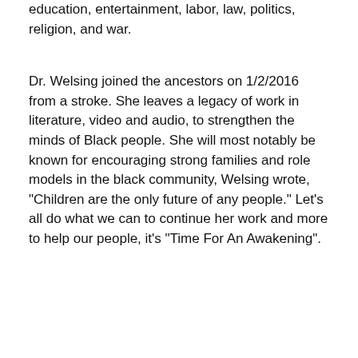education, entertainment, labor, law, politics, religion, and war.
Dr. Welsing joined the ancestors on 1/2/2016 from a stroke. She leaves a legacy of work in literature, video and audio, to strengthen the minds of Black people. She will most notably be known for encouraging strong families and role models in the black community, Welsing wrote, "Children are the only future of any people." Let's all do what we can to continue her work and more to help our people, it's "Time For An Awakening".